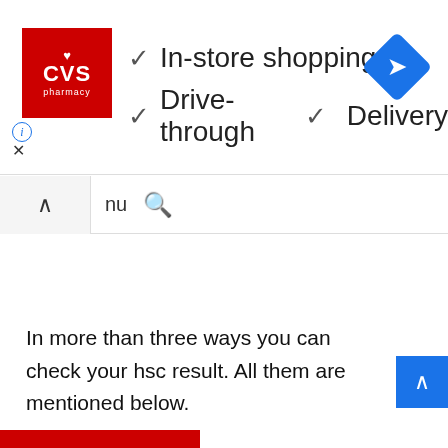[Figure (screenshot): CVS Pharmacy advertisement banner showing red CVS Pharmacy logo, checkmarks for In-store shopping, Drive-through, and Delivery features, and a blue diamond navigation icon. Below is a browser navigation bar with back button, menu text, and search icon.]
In more than three ways you can check your hsc result. All them are mentioned below.